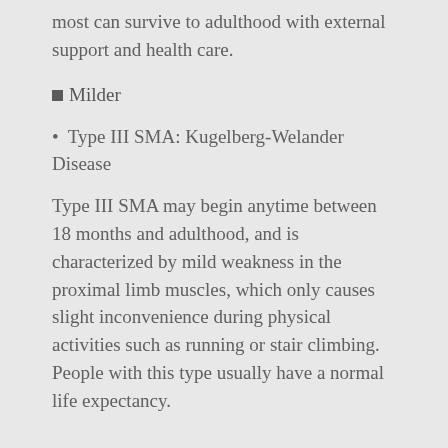most can survive to adulthood with external support and health care.
■Milder
• Type III SMA: Kugelberg-Welander Disease
Type III SMA may begin anytime between 18 months and adulthood, and is characterized by mild weakness in the proximal limb muscles, which only causes slight inconvenience during physical activities such as running or stair climbing. People with this type usually have a normal life expectancy.